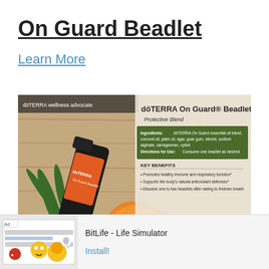On Guard Beadlet
Learn More
[Figure (photo): Product photo of dōTERRA On Guard Beadlet with rosemary, orange peel, small beadlets, and product label details including ingredients, directions for use, key benefits, usage icons, and a beadlet tip section on a wooden surface background.]
Ad  BitLife - Life Simulator  Install!